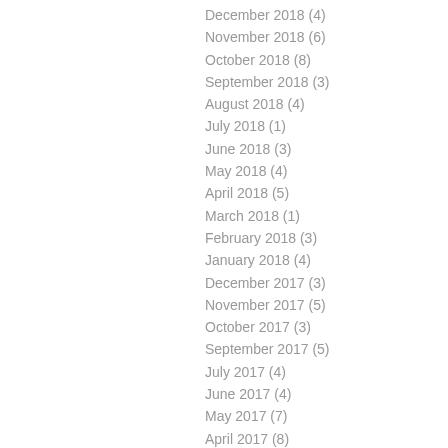December 2018 (4)
November 2018 (6)
October 2018 (8)
September 2018 (3)
August 2018 (4)
July 2018 (1)
June 2018 (3)
May 2018 (4)
April 2018 (5)
March 2018 (1)
February 2018 (3)
January 2018 (4)
December 2017 (3)
November 2017 (5)
October 2017 (3)
September 2017 (5)
July 2017 (4)
June 2017 (4)
May 2017 (7)
April 2017 (8)